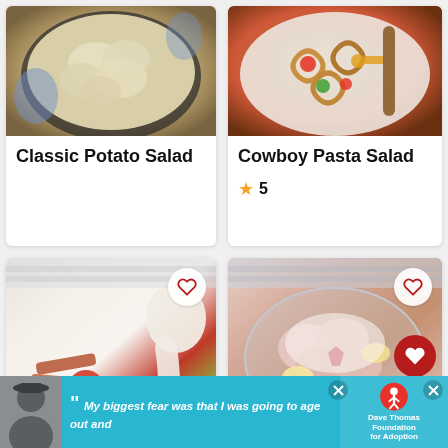[Figure (photo): Classic potato salad in a bowl viewed from above]
Classic Potato Salad
[Figure (photo): Cowboy pasta salad with colorful vegetables on a white plate]
Cowboy Pasta Salad
5
[Figure (photo): BLT salad with lettuce, tomatoes and creamy dressing being poured]
[Figure (photo): Creamy fruit salad with bananas and strawberries in a glass bowl]
[Figure (photo): Advertisement banner: My biggest fear was that I was going to age out and - Dave Thomas Foundation for Adoption]